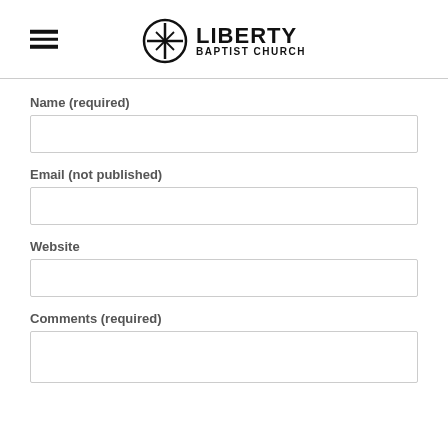[Figure (logo): Liberty Baptist Church logo with circular cross emblem and bold text]
Name (required)
Email (not published)
Website
Comments (required)